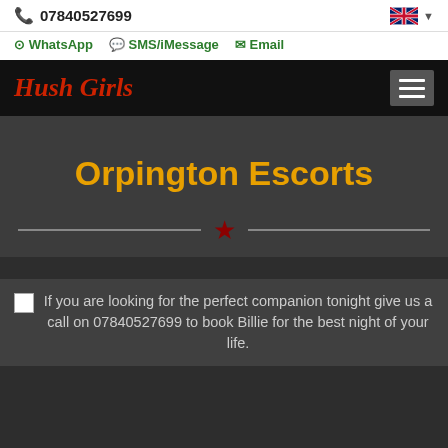07840527699
WhatsApp  SMS/iMessage  Email
Hush Girls
Orpington Escorts
If you are looking for the perfect companion tonight give us a call on 07840527699 to book Billie for the best night of your life.